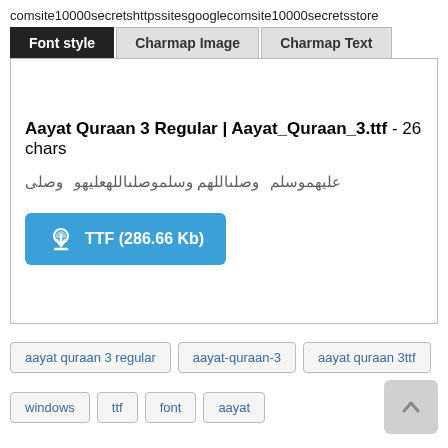comsite10000secretshttpssitesgooglecomsite10000secretsstore
[Figure (screenshot): A tabbed UI panel with tabs 'Font style' (active, dark background), 'Charmap Image', and 'Charmap Text'. Inside the active panel: font name 'Aayat Quraan 3 Regular | Aayat_Quraan_3.ttf - 26 chars', a line of decorative/Arabic font sample text, and a blue download button labeled 'TTF (286.66 Kb)'.]
aayat quraan 3 regular
aayat-quraan-3
aayat quraan 3ttf
windows
ttf
font
aayat